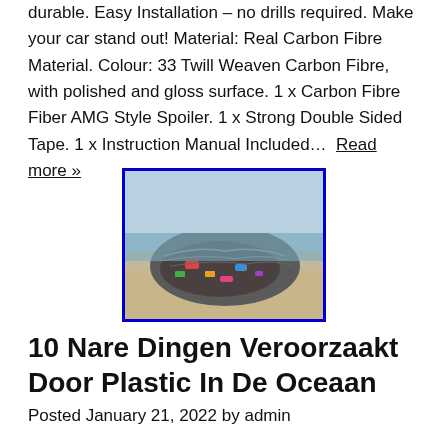durable. Easy Installation – no drills required. Make your car stand out! Material: Real Carbon Fibre Material. Colour: 33 Twill Weaven Carbon Fibre, with polished and gloss surface. 1 x Carbon Fibre Fiber AMG Style Spoiler. 1 x Strong Double Sided Tape. 1 x Instruction Manual Included…. Read more »
[Figure (photo): Photo of plastic waste and debris on a beach, showing colorful trash and tangled materials near the water.]
10 Nare Dingen Veroorzaakt Door Plastic In De Oceaan
Posted January 21, 2022 by admin